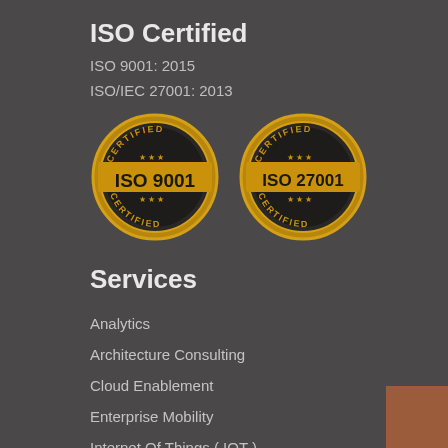ISO Certified
ISO 9001: 2015
ISO/IEC 27001: 2013
[Figure (logo): Two gold ISO certification badges: ISO 9001 and ISO 27001, each circular with 'CERTIFIED' text at top and bottom and stars]
Services
Analytics
Architecture Consulting
Cloud Enablement
Enterprise Mobility
Internet Of Things ( IOT )
Online Portals and CMS